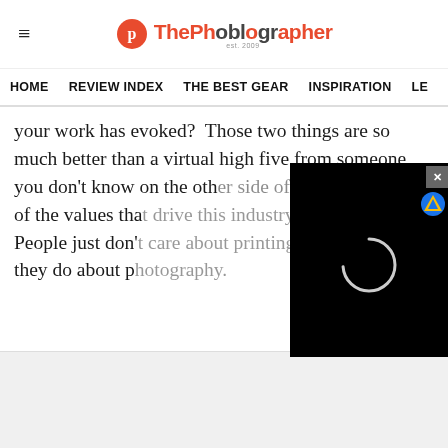ThePhoblographer — est. 2009
HOME  REVIEW INDEX  THE BEST GEAR  INSPIRATION  LEA
your work has evoked?  Those two things are so much better than a virtual high five from someone you don't know on the oth... of the values tha... People just don'... they do about p...
[Figure (other): Black video player overlay with loading spinner circle and close X button, and a blue/yellow browser badge icon in the corner]